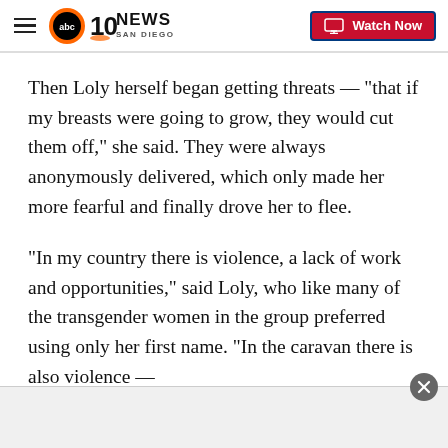[Figure (logo): ABC 10News San Diego logo with hamburger menu icon on the left and a Watch Now button on the right]
Then Loly herself began getting threats — "that if my breasts were going to grow, they would cut them off," she said. They were always anonymously delivered, which only made her more fearful and finally drove her to flee.
"In my country there is violence, a lack of work and opportunities," said Loly, who like many of the transgender women in the group preferred using only her first name. "In the caravan there is also violence —